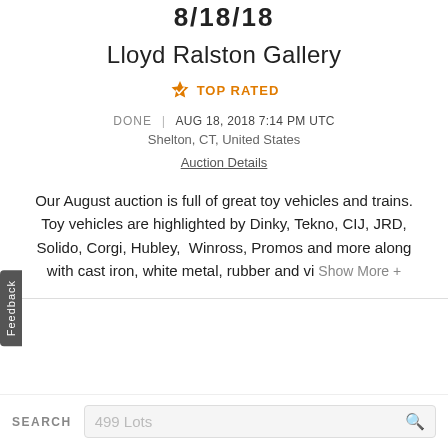8/18/18
Lloyd Ralston Gallery
TOP RATED
DONE | AUG 18, 2018 7:14 PM UTC
Shelton, CT, United States
Auction Details
Our August auction is full of great toy vehicles and trains. Toy vehicles are highlighted by Dinky, Tekno, CIJ, JRD, Solido, Corgi, Hubley, Winross, Promos and more along with cast iron, white metal, rubber and vi Show More +
SEARCH  499 Lots